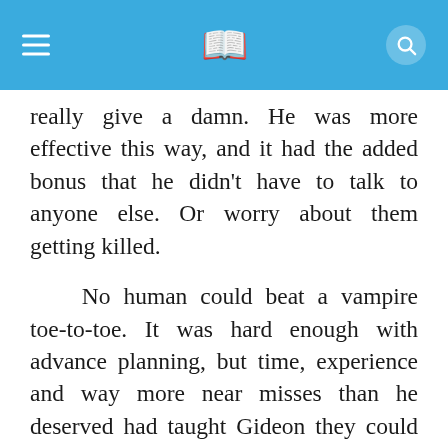really give a damn. He was more effective this way, and it had the added bonus that he didn't have to talk to anyone else. Or worry about them getting killed.

No human could beat a vampire toe-to-toe. It was hard enough with advance planning, but time, experience and way more near misses than he deserved had taught Gideon they could be tricked, same as anyone else. Particularly if you put in the time to study their habits and schedules, and especially if they'd handicapped themselves by trying to pass as mortals. Or maybe he'd gotten that damn good at this.